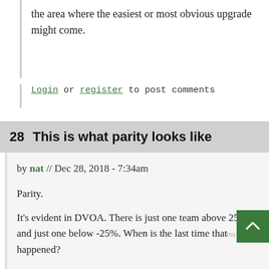the area where the easiest or most obvious upgrade might come.
Login or register to post comments
28  This is what parity looks like
by nat // Dec 28, 2018 - 7:34am
Parity.
It's evident in DVOA. There is just one team above 25%, and just one below -25%. When is the last time that happened?
You can see it in the non-divisional records, too. There are the fewest teams outside the 3-7 to 7-3 non-divisional record range in at least 10 years